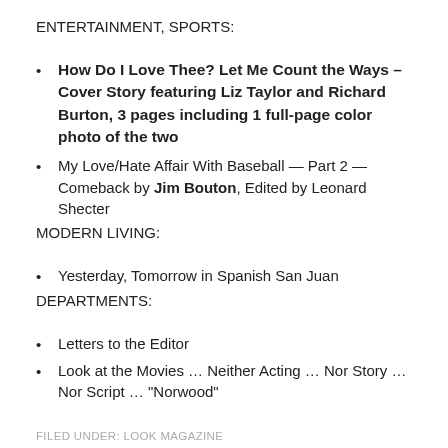ENTERTAINMENT, SPORTS:
How Do I Love Thee? Let Me Count the Ways – Cover Story featuring Liz Taylor and Richard Burton, 3 pages including 1 full-page color photo of the two
My Love/Hate Affair With Baseball — Part 2 — Comeback by Jim Bouton, Edited by Leonard Shecter
MODERN LIVING:
Yesterday, Tomorrow in Spanish San Juan
DEPARTMENTS:
Letters to the Editor
Look at the Movies … Neither Acting … Nor Story … Nor Script … "Norwood"
FILED UNDER: LOOK MAGAZINE
TAGGED WITH: LOOK MAGAZINE